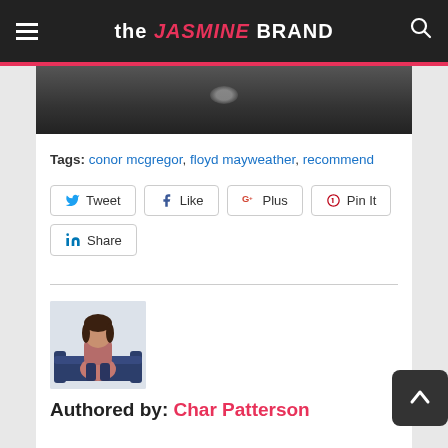the JASMINE BRAND
[Figure (photo): Cropped photo strip at top of article content area, dark background]
Tags: conor mcgregor, floyd mayweather, recommend
Tweet  Like  Plus  Pin It  Share
[Figure (photo): Author photo of Char Patterson sitting on a small sofa/chair]
Authored by: Char Patterson